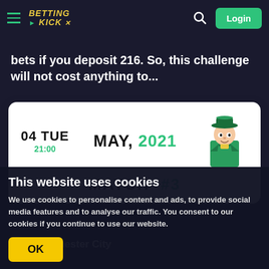[Figure (screenshot): Betting Kick website navigation bar with hamburger menu, logo, search icon, and Login button]
bets if you deposit 216. So, this challenge will not cost anything to...
[Figure (infographic): White card showing date 04 TUE, time 21:00, MAY, 2021, with a cartoon character in green coat and hat, and MATCH #3 label below]
Manchester City
Paris Saint-Germain
ODDS 10   STAKE 15€
77% Agree   61
This website uses cookies
We use cookies to personalise content and ads, to provide social media features and to analyse our traffic. You consent to our cookies if you continue to use our website.
OK